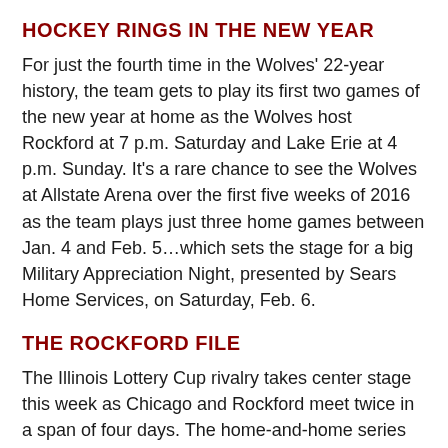HOCKEY RINGS IN THE NEW YEAR
For just the fourth time in the Wolves' 22-year history, the team gets to play its first two games of the new year at home as the Wolves host Rockford at 7 p.m. Saturday and Lake Erie at 4 p.m. Sunday. It's a rare chance to see the Wolves at Allstate Arena over the first five weeks of 2016 as the team plays just three home games between Jan. 4 and Feb. 5…which sets the stage for a big Military Appreciation Night, presented by Sears Home Services, on Saturday, Feb. 6.
THE ROCKFORD FILE
The Illinois Lottery Cup rivalry takes center stage this week as Chicago and Rockford meet twice in a span of four days. The home-and-home series starts